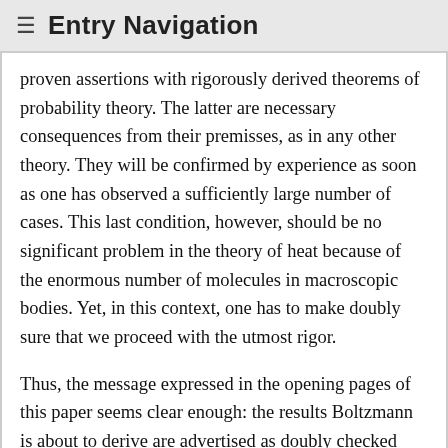≡ Entry Navigation
proven assertions with rigorously derived theorems of probability theory. The latter are necessary consequences from their premisses, as in any other theory. They will be confirmed by experience as soon as one has observed a sufficiently large number of cases. This last condition, however, should be no significant problem in the theory of heat because of the enormous number of molecules in macroscopic bodies. Yet, in this context, one has to make doubly sure that we proceed with the utmost rigor.
Thus, the message expressed in the opening pages of this paper seems clear enough: the results Boltzmann is about to derive are advertised as doubly checked and utterly rigorous. Of course, their relationship with experience might be less secure, since any probability statement is only reproduced in observations by sufficiently large numbers of independent data. Thus, Boltzmann would have allowed for exceptions in the relationship between theory and observation, but not in the relation between premisses and conclusion.